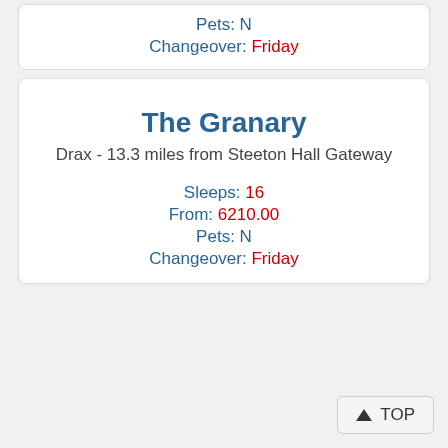Pets: N
Changeover: Friday
The Granary
Drax - 13.3 miles from Steeton Hall Gateway
Sleeps: 16
From: 6210.00
Pets: N
Changeover: Friday